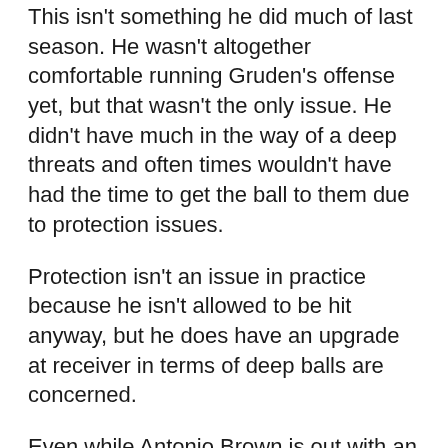This isn't something he did much of last season. He wasn't altogether comfortable running Gruden's offense yet, but that wasn't the only issue. He didn't have much in the way of a deep threats and often times wouldn't have had the time to get the ball to them due to protection issues.
Protection isn't an issue in practice because he isn't allowed to be hit anyway, but he does have an upgrade at receiver in terms of deep balls are concerned.
Even while Antonio Brown is out with an undisclosed injury, Carr has Tyrell Williams. The two connected on several deep balls both in 7-on-7 and 11-on-11 drills.
The chemistry between Carr and Williams is apparent. And Carr is loving having someone with the length and speed of Williams to throw to. At one point he took a